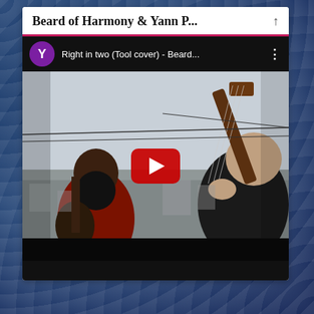Beard of Harmony & Yann P...
[Figure (screenshot): YouTube video embed showing two guitarists playing on a rooftop. Title bar reads 'Right in two (Tool cover) - Beard...' with a purple Y avatar icon and three-dot menu. A large red YouTube play button is centered over the video. One musician has a large beard and plays guitar in red shirt on the left; another plays guitar from behind on the right. City skyline visible in background. Bottom of video area is dark/black.]